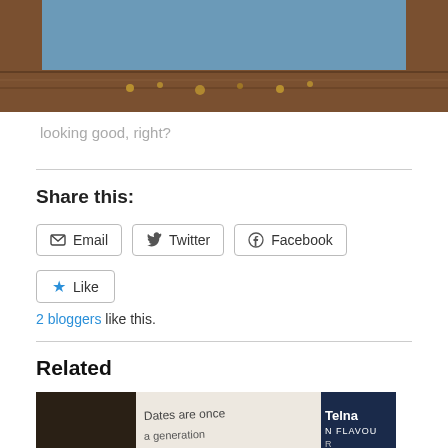[Figure (photo): A photo showing a wooden framed mirror with a blue-grey background and decorative floral elements along the frame bottom.]
looking good, right?
Share this:
Email  Twitter  Facebook
Like
2 bloggers like this.
Related
[Figure (photo): Related article thumbnail showing a handwritten note saying 'Dates are once...' and a product label showing 'Telnat N FLAVOUR']